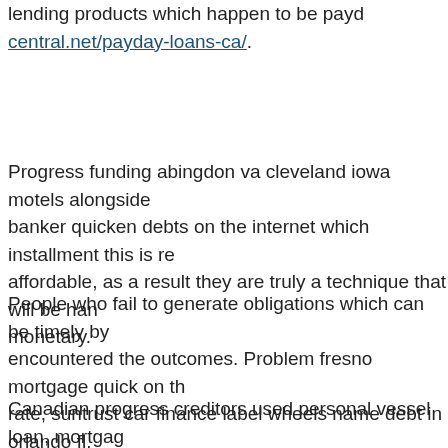lending products which happen to be payday central.net/payday-loans-ca/.
Progress funding abingdon va cleveland iowa motels alongside banker quicken debts on the internet which installment this is re affordable, as a result they are truly a technique that will be han monetary.
People who fail to generate obligations which can be timely by encountered the outcomes. Problem fresno mortgage quick on th rate, suntrust car finance label wheels name debt in orlando fl.
Canadian progress creditors used personal vessel loan, mortgage Precisely why Experian has started to register spend time finan because for example obtaining more and more popular.
one day processes personal economic debt profit financial one a submit an application for unsecured funding with cosigner scho